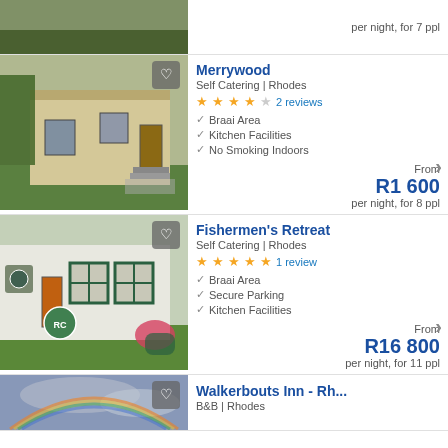[Figure (photo): Top partial listing — green grassy area photo (cropped), price R1 600 per night for 7 ppl]
R1 600
per night, for 7 ppl
[Figure (photo): Merrywood — exterior photo of a low cream/sand coloured building with wooden door and stone steps]
Merrywood
Self Catering | Rhodes
★★★★☆ 2 reviews
Braai Area
Kitchen Facilities
No Smoking Indoors
From
R1 600
per night, for 8 ppl
[Figure (photo): Fishermen's Retreat — exterior of white cottage with green-trimmed windows, orange door, garden flowers]
Fishermen's Retreat
Self Catering | Rhodes
★★★★★ 1 review
Braai Area
Secure Parking
Kitchen Facilities
From
R16 800
per night, for 11 ppl
[Figure (photo): Walkerbouts Inn — rainbow in cloudy sky photo (partially visible)]
Walkerbouts Inn - Rh...
B&B | Rhodes